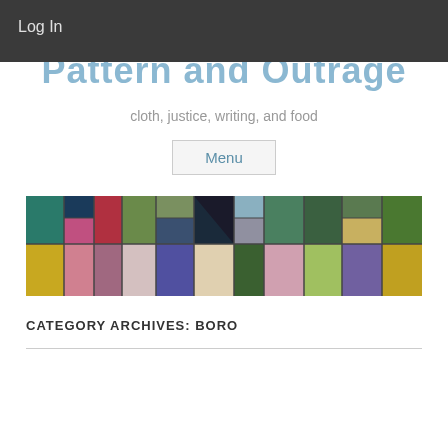Log In
Pattern and Outrage
cloth, justice, writing, and food
Menu
[Figure (photo): A patchwork quilt or fabric collage showing many different colorful fabric swatches arranged in a grid pattern, featuring various textures, prints, and colors including green, teal, pink, yellow, black, and blue fabrics.]
CATEGORY ARCHIVES: BORO